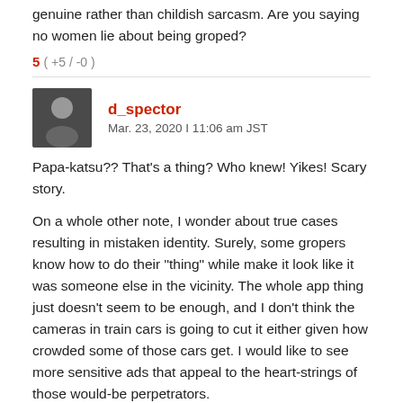genuine rather than childish sarcasm. Are you saying no women lie about being groped?
5 ( +5 / -0 )
d_spector
Mar. 23, 2020 | 11:06 am JST
Papa-katsu?? That's a thing? Who knew! Yikes! Scary story.

On a whole other note, I wonder about true cases resulting in mistaken identity. Surely, some gropers know how to do their "thing" while make it look like it was someone else in the vicinity. The whole app thing just doesn't seem to be enough, and I don't think the cameras in train cars is going to cut it either given how crowded some of those cars get. I would like to see more sensitive ads that appeal to the heart-strings of those would-be perpetrators.
0 ( +0 / -0 )
AMS